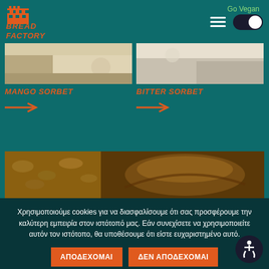[Figure (logo): Bread Factory logo with orange factory icon and orange italic bold text BREAD FACTORY]
Go Vegan
[Figure (photo): Mango sorbet product photo - light colored marble floor background]
MANGO SORBET
[Figure (photo): Bitter sorbet product photo - light colored marble background]
BITTER SORBET
[Figure (photo): Wide photo of seeds and bread loaf - dark brown bread ingredients]
Χρησιμοποιούμε cookies για να διασφαλίσουμε ότι σας προσφέρουμε την καλύτερη εμπειρία στον ιστότοπό μας. Εάν συνεχίσετε να χρησιμοποιείτε αυτόν τον ιστότοπο, θα υποθέσουμε ότι είστε ευχαριστημένο αυτό.
ΑΠΟΔΕΧΟΜΑΙ
ΔΕΝ ΑΠΟΔΕΧΟΜΑΙ